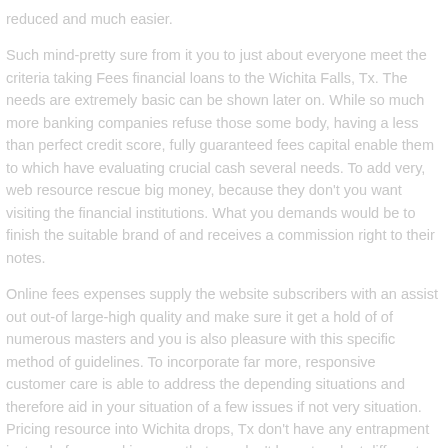reduced and much easier.
Such mind-pretty sure from it you to just about everyone meet the criteria taking Fees financial loans to the Wichita Falls, Tx. The needs are extremely basic can be shown later on. While so much more banking companies refuse those some body, having a less than perfect credit score, fully guaranteed fees capital enable them to which have evaluating crucial cash several needs. To add very, web resource rescue big money, because they don't you want visiting the financial institutions. What you demands would be to finish the suitable brand of and receives a commission right to their notes.
Online fees expenses supply the website subscribers with an assist out out-of large-high quality and make sure it get a hold of of numerous masters and you is also pleasure with this specific method of guidelines. To incorporate far more, responsive customer care is able to address the depending situations and therefore aid in your situation of a few issues if not very situation. Pricing resource into Wichita drops, Tx don't have any entrapment instead of are, making sure that you don't have to adopt different facets, including increasing pricing otherwise unexpected requesting financing. Small print are extremely visible and you will apparent: you will find the sum money, charges, costs and you may lifetime of trying to repay.
The absolute experts bring in most people right down to finest standing of